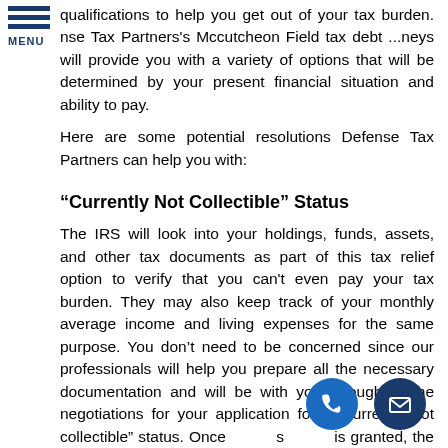MENU
qualifications to help you get out of your tax burden. nse Tax Partners's Mccutcheon Field tax debt ...neys will provide you with a variety of options that will be determined by your present financial situation and ability to pay.
Here are some potential resolutions Defense Tax Partners can help you with:
“Currently Not Collectible” Status
The IRS will look into your holdings, funds, assets, and other tax documents as part of this tax relief option to verify that you can't even pay your tax burden. They may also keep track of your monthly average income and living expenses for the same purpose. You don’t need to be concerned since our professionals will help you prepare all the necessary documentation and will be with you throughout the negotiations for your application for a “currently not collectible” status. Once s is granted, the IRS will hold off further att s to ect